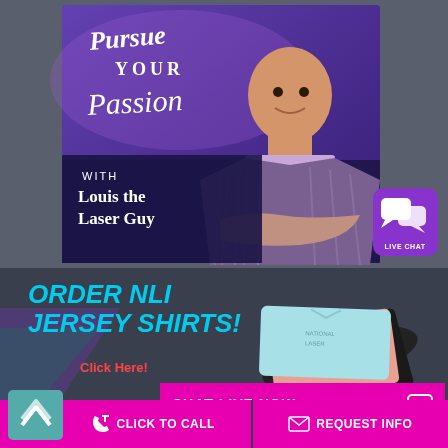[Figure (photo): Podcast promotional image: 'Pursue Your Passion with Louis the Laser Guy' - bald man in plaid blazer with arms crossed on purple/navy background]
[Figure (logo): Live Chat badge - purple rounded square with speech bubble icons and 'LIVE CHAT' text]
ORDER NLI JERSEY SHIRTS!
Click Here!
[Figure (photo): Stack of jersey shirts fanned out, light blue on top]
CHAT LIVE NOW
CLICK TO CALL
REQUEST INFO